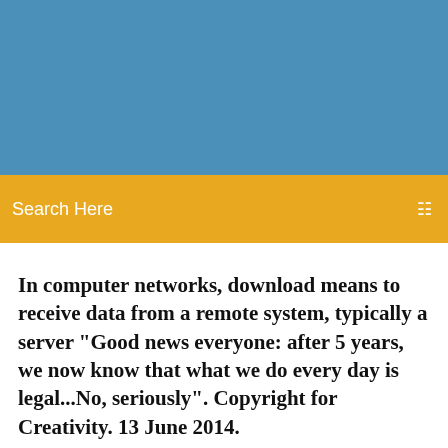[Figure (other): Blue header banner background area]
Search Here
In computer networks, download means to receive data from a remote system, typically a server "Good news everyone: after 5 years, we now know that what we do every day is legal...No, seriously". Copyright for Creativity. 13 June 2014.
If you see files downloaded from Dropbox to your computer that were You can also determine which application is causing the issue,